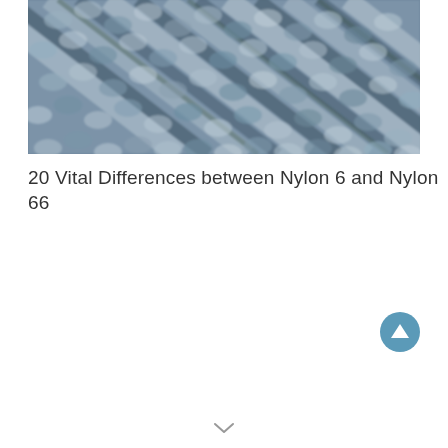[Figure (photo): Close-up macro photograph of woven fabric in shades of blue, grey, and white showing interlaced textile fibers]
20 Vital Differences between Nylon 6 and Nylon 66